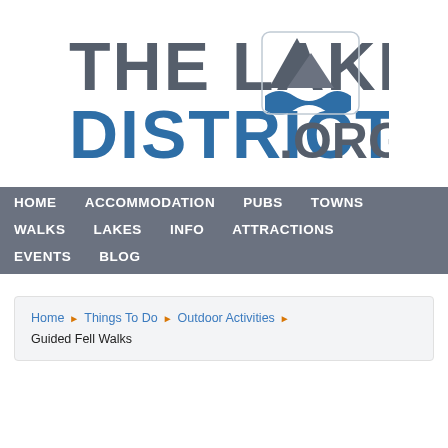[Figure (logo): The Lake District .org logo with mountain and wave graphic]
HOME  ACCOMMODATION  PUBS  TOWNS  WALKS  LAKES  INFO  ATTRACTIONS  EVENTS  BLOG
Home › Things To Do › Outdoor Activities › Guided Fell Walks